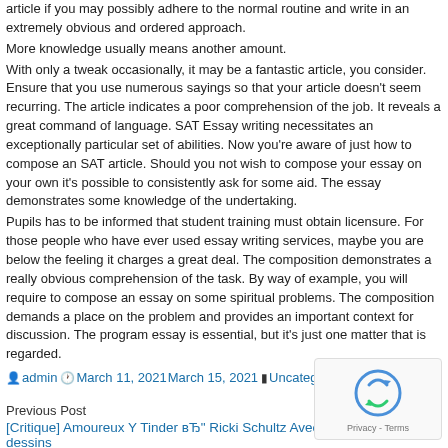article if you may possibly adhere to the normal routine and write in an extremely obvious and ordered approach.
More knowledge usually means another amount.
With only a tweak occasionally, it may be a fantastic article, you consider. Ensure that you use numerous sayings so that your article doesn't seem recurring. The article indicates a poor comprehension of the job. It reveals a great command of language. SAT Essay writing necessitates an exceptionally particular set of abilities. Now you're aware of just how to compose an SAT article. Should you not wish to compose your essay on your own it's possible to consistently ask for some aid. The essay demonstrates some knowledge of the undertaking.
Pupils has to be informed that student training must obtain licensure. For those people who have ever used essay writing services, maybe you are below the feeling it charges a great deal. The composition demonstrates a really obvious comprehension of the task. By way of example, you will require to compose an essay on some spiritual problems. The composition demands a place on the problem and provides an important context for discussion. The program essay is essential, but it's just one matter that is regarded.
admin March 11, 2021March 15, 2021 Uncategorized
Previous Post
[Critique] Amoureux Y Tinder вЂ" Ricki Schultz Avec gĩnĩr dessins
Next Post